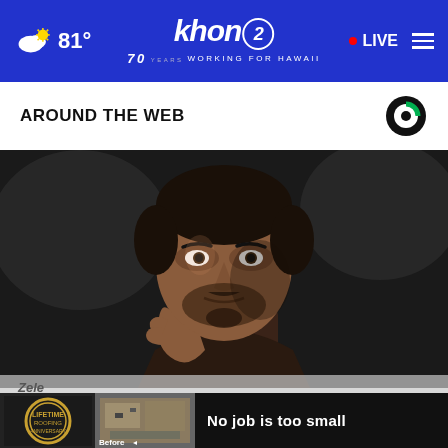khon2 WORKING FOR HAWAII — 81° — LIVE
AROUND THE WEB
[Figure (photo): Close-up photo of a man with dark hair and beard, wearing a dark jacket, with his hand raised to his chin in a thoughtful pose. Background is dark and blurred.]
Zele
[Figure (infographic): Bottom advertisement bar with a roofing company logo, a before/after aerial photo, and the text 'No job is too small']